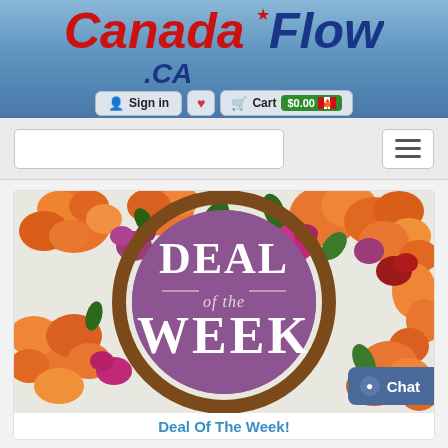[Figure (logo): CanadaFlowers.CA logo with red maple leaf, red italic Canada text and blue Flowers.CA text]
Sign in  ♥  Cart $0.00 🇨🇦
[Figure (screenshot): Search box and hamburger menu button on grey navigation bar]
[Figure (photo): Deal of the Week promotional image showing orange and pink flowers surrounding a purple circle with DEAL of the WEEK text]
Deal Of The Week!
[Figure (other): Chat button in bottom right corner]